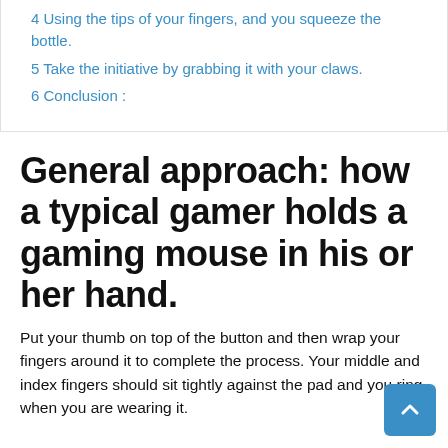4 Using the tips of your fingers, and you squeeze the bottle.
5 Take the initiative by grabbing it with your claws.
6 Conclusion :
General approach: how a typical gamer holds a gaming mouse in his or her hand.
Put your thumb on top of the button and then wrap your fingers around it to complete the process. Your middle and index fingers should sit tightly against the pad and your ring when you are wearing it.